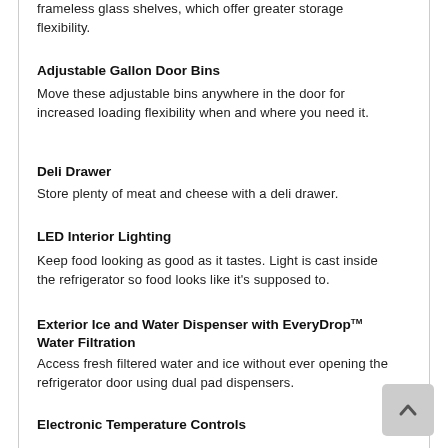frameless glass shelves, which offer greater storage flexibility.
Adjustable Gallon Door Bins
Move these adjustable bins anywhere in the door for increased loading flexibility when and where you need it.
Deli Drawer
Store plenty of meat and cheese with a deli drawer.
LED Interior Lighting
Keep food looking as good as it tastes. Light is cast inside the refrigerator so food looks like it's supposed to.
Exterior Ice and Water Dispenser with EveryDrop™ Water Filtration
Access fresh filtered water and ice without ever opening the refrigerator door using dual pad dispensers.
Electronic Temperature Controls